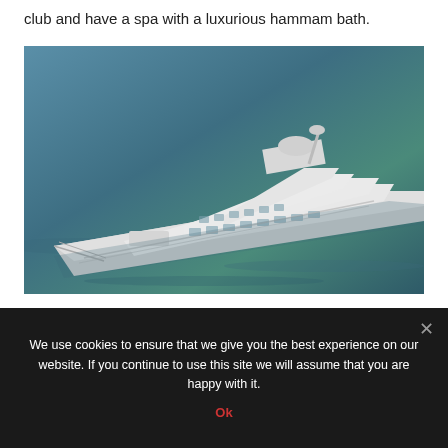club and have a spa with a luxurious hammam bath.
[Figure (photo): Aerial view of a large white luxury giga-yacht (FB277 by Benetti) sailing on blue-green water, photographed from above at an angle showing multiple decks, a helipad area, and modern superstructure.]
FB277 serves as the third giga-yacht Benetti ever built
We use cookies to ensure that we give you the best experience on our website. If you continue to use this site we will assume that you are happy with it.
Ok